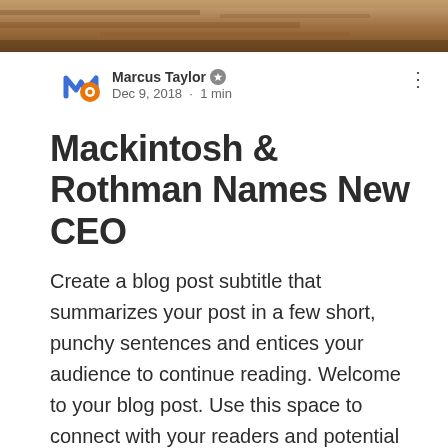[Figure (photo): Hero image at top of page, partial view of a natural/outdoor scene with warm brown and tan tones]
Marcus Taylor ✦
Dec 9, 2018 · 1 min
Mackintosh & Rothman Names New CEO
Create a blog post subtitle that summarizes your post in a few short, punchy sentences and entices your audience to continue reading. Welcome to your blog post. Use this space to connect with your readers and potential customers in a way that's current and interesting. Think of it as an ongoing conversation where you can share updates about business, trends, news, and more. "Do you have a design in mind